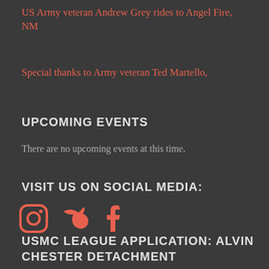US Army veteran Andrew Grey rides to Angel Fire, NM
Special thanks to Army veteran Ted Martello,
UPCOMING EVENTS
There are no upcoming events at this time.
VISIT US ON SOCIAL MEDIA:
[Figure (illustration): Social media icons: Instagram, Twitter, Facebook in salmon/coral color]
USMC LEAGUE APPLICATION: ALVIN CHESTER DETACHMENT